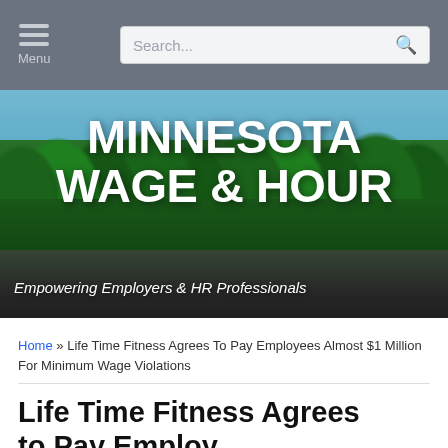Menu | Search...
[Figure (photo): Hero banner with forest/lake landscape background showing tall green trees and dark water, with overlaid white bold text reading 'MINNESOTA WAGE & HOUR' and italic subtitle 'Empowering Employers & HR Professionals']
MINNESOTA WAGE & HOUR
Empowering Employers & HR Professionals
Home » Life Time Fitness Agrees To Pay Employees Almost $1 Million For Minimum Wage Violations
Life Time Fitness Agrees to Pay Employees